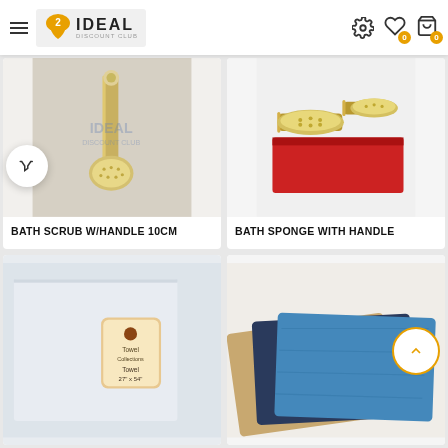Ideal Discount Club
[Figure (photo): Bath scrub with handle 10cm product photo]
BATH SCRUB W/HANDLE 10CM
[Figure (photo): Bath sponge with handle product photo showing two brushes on red cloth]
BATH SPONGE WITH HANDLE
[Figure (photo): Towel collections product photo]
[Figure (photo): Colored fabric/cloths product photo showing brown, dark blue and blue pieces]